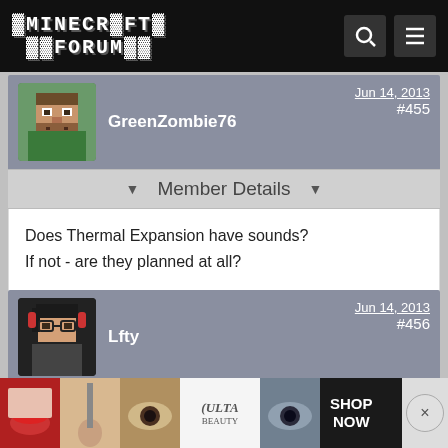MINECRAFT FORUM
GreenZombie76   Jun 14, 2013  #455
Member Details
Does Thermal Expansion have sounds?
If not - are they planned at all?
Lfty   Jun 14, 2013  #456
Member Details
Little Suggestion: Could you make your glowstone illuminate...
And...
And... from the
[Figure (advertisement): ULTA beauty advertisement banner with lipstick, brushes, makeup images and SHOP NOW button]